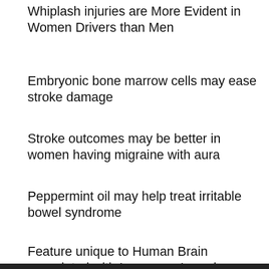Whiplash injuries are More Evident in Women Drivers than Men
Embryonic bone marrow cells may ease stroke damage
Stroke outcomes may be better in women having migraine with aura
Peppermint oil may help treat irritable bowel syndrome
Feature unique to Human Brain associated with Language Learning